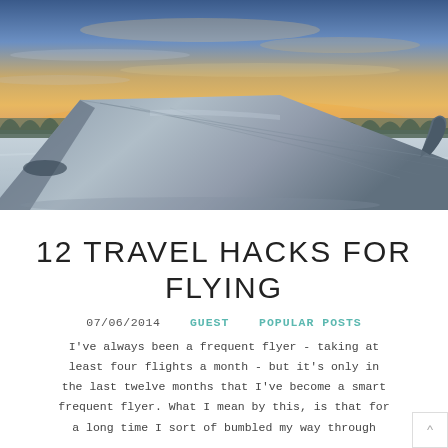[Figure (photo): Airplane wing viewed from window seat during winter sunset/sunrise. Snow-covered landscape with forest below, colorful sky with orange and blue tones above.]
12 TRAVEL HACKS FOR FLYING
07/06/2014   GUEST   POPULAR POSTS
I've always been a frequent flyer - taking at least four flights a month - but it's only in the last twelve months that I've become a smart frequent flyer. What I mean by this, is that for a long time I sort of bumbled my way through